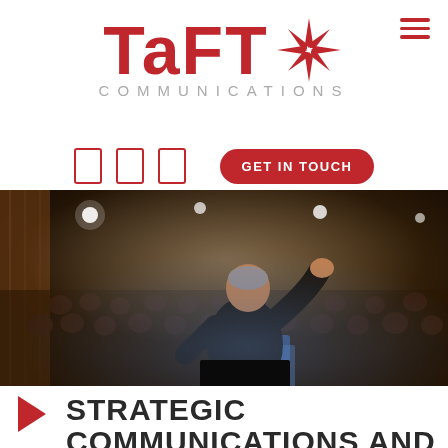[Figure (logo): Taft Communications logo with red star burst icon and gray COMMUNICATIONS text below]
GET IN TOUCH
[Figure (photo): Speaker presenting to large audience in a conference hall, viewed from behind, gesturing with raised hand]
STRATEGIC COMMUNICATIONS AND